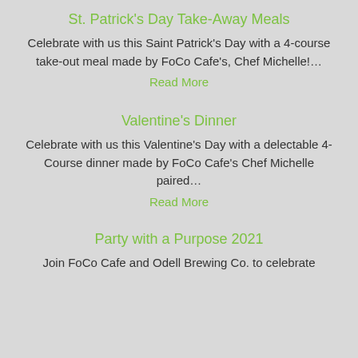St. Patrick's Day Take-Away Meals
Celebrate with us this Saint Patrick's Day with a 4-course take-out meal made by FoCo Cafe's, Chef Michelle!…
Read More
Valentine's Dinner
Celebrate with us this Valentine's Day with a delectable 4-Course dinner made by FoCo Cafe's Chef Michelle paired…
Read More
Party with a Purpose 2021
Join FoCo Cafe and Odell Brewing Co. to celebrate